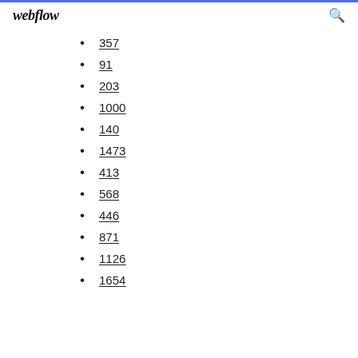webflow
357
91
203
1000
140
1473
413
568
446
871
1126
1654